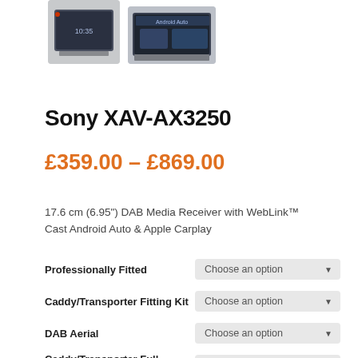[Figure (photo): Two Sony XAV-AX3250 car media receiver units shown side by side - product images]
Sony XAV-AX3250
£359.00 – £869.00
17.6 cm (6.95") DAB Media Receiver with WebLink™ Cast Android Auto & Apple Carplay
Professionally Fitted
Choose an option
Caddy/Transporter Fitting Kit
Choose an option
DAB Aerial
Choose an option
Caddy/Transporter Full Retention
Choose an option